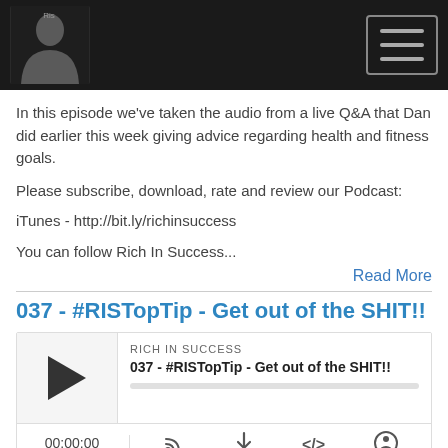[Figure (screenshot): Website header with dark background showing a photo of a man and a hamburger menu icon]
In this episode we've taken the audio from a live Q&A that Dan did earlier this week giving advice regarding health and fitness goals.
Please subscribe, download, rate and review our Podcast:
iTunes - http://bit.ly/richinsuccess
You can follow Rich In Success...
Read More
037 - #RISTopTip - Get out of the SHIT!!
[Figure (screenshot): Podcast player widget showing 'RICH IN SUCCESS' and episode '037 - #RISTopTip - Get out of the SHIT!!' with play button, progress bar, timestamp 00:00:00, and control icons]